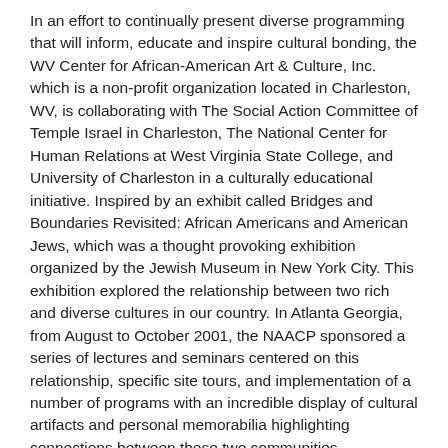In an effort to continually present diverse programming that will inform, educate and inspire cultural bonding, the WV Center for African-American Art & Culture, Inc. which is a non-profit organization located in Charleston, WV, is collaborating with The Social Action Committee of Temple Israel in Charleston, The National Center for Human Relations at West Virginia State College, and University of Charleston in a culturally educational initiative. Inspired by an exhibit called Bridges and Boundaries Revisited: African Americans and American Jews, which was a thought provoking exhibition organized by the Jewish Museum in New York City. This exhibition explored the relationship between two rich and diverse cultures in our country. In Atlanta Georgia, from August to October 2001, the NAACP sponsored a series of lectures and seminars centered on this relationship, specific site tours, and implementation of a number of programs with an incredible display of cultural artifacts and personal memorabilia highlighting connections between these two communities.
Thus, an encouraged imitative has begun in West Virginia to explore this meaningful and enduring relationship. Connected: An African American and Jewish Dialogue will combine a variety of programs and performances to heighten the awareness of a historical relationship built during a significant time in the life of our